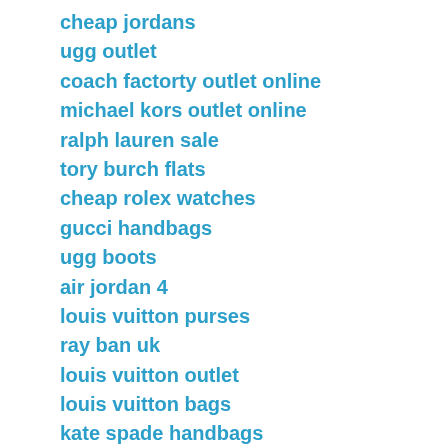cheap jordans
ugg outlet
coach factorty outlet online
michael kors outlet online
ralph lauren sale
tory burch flats
cheap rolex watches
gucci handbags
ugg boots
air jordan 4
louis vuitton purses
ray ban uk
louis vuitton outlet
louis vuitton bags
kate spade handbags
adidas superstar
cheap uggs
longchamp handbags
kobe 10
oakley sunglasses
air max 95
gucci handbgs